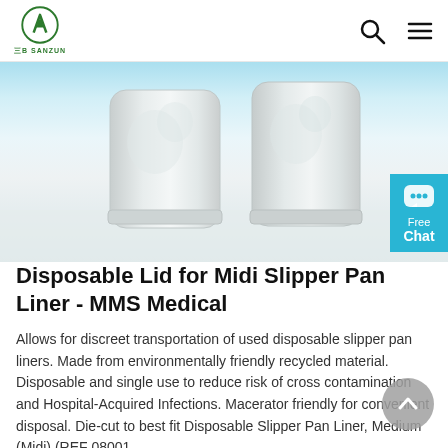SANZUN logo and navigation header with search and menu icons
[Figure (photo): Product photo showing two disposable slipper pan liners (white/translucent, rectangular with rounded tops) on a white surface against a light blue/white background. A cyan accent bar appears at the top. A 'Free Chat' button overlay is visible in the bottom-right corner.]
Disposable Lid for Midi Slipper Pan Liner - MMS Medical
Allows for discreet transportation of used disposable slipper pan liners. Made from environmentally friendly recycled material. Disposable and single use to reduce risk of cross contamination and Hospital-Acquired Infections. Macerator friendly for convenient disposal. Die-cut to best fit Disposable Slipper Pan Liner, Medium (Midi) (REF 08001 ...